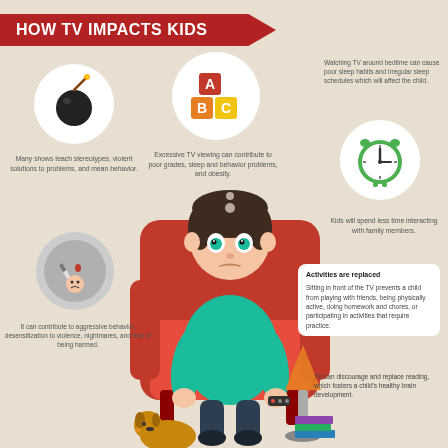HOW TV IMPACTS KIDS
[Figure (illustration): Icon of a bomb (black) in a white circle]
[Figure (illustration): ABC building blocks (A=red, B=orange, C=yellow) in a white circle]
[Figure (illustration): Green alarm clock in a white circle]
[Figure (illustration): Violence/nightmares icon with knife and scared child face in a grey circle]
[Figure (illustration): Central illustration of a boy sitting in a red armchair watching TV, holding a remote control, with a dog at his feet and a lamp and books nearby]
Many shows teach stereotypes, violent solutions to problems, and mean behavior.
Excessive TV viewing can contribute to poor grades, sleep and behavior problems, and obesity.
Watching TV around bedtime can cause poor sleep habits and irregular sleep schedules which will affect the child.
Kids will spend less time interacting with family members.
Activities are replaced
Sitting in front of the TV prevents a child from playing with friends, being physically active, doing homework and chores, or participating in activities that require practice.
It can contribute to aggressive behavior, desensitization to violence, nightmares, and fear of being harmed.
TV can discourage and replace reading, which fosters a child's healthy brain development.